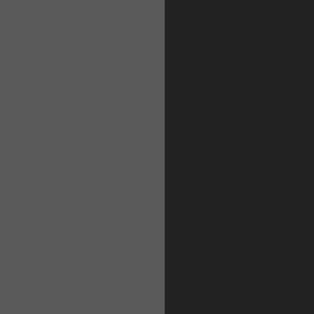[Figure (screenshot): Like and Dislike buttons on a dark forum interface]
Re: Naim CD2 Olive CD Player
by cloudstrife87 Sat Jul 23, 2022 10:56 am
bump